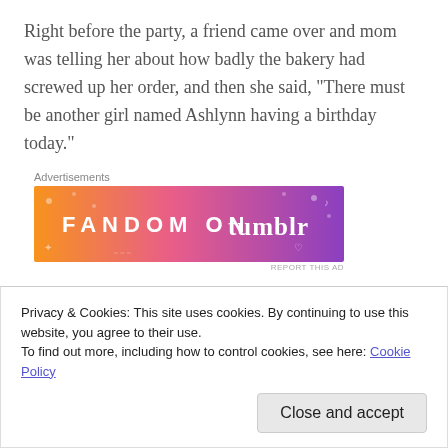Right before the party, a friend came over and mom was telling her about how badly the bakery had screwed up her order, and then she said, “There must be another girl named Ashlynn having a birthday today.”
Advertisements
[Figure (other): Advertisement banner for Fandom on Tumblr with orange-to-purple gradient background and white text]
I said, “Oh, there can’t be. What are the odds of
Privacy & Cookies: This site uses cookies. By continuing to use this website, you agree to their use.
To find out more, including how to control cookies, see here: Cookie Policy
Close and accept